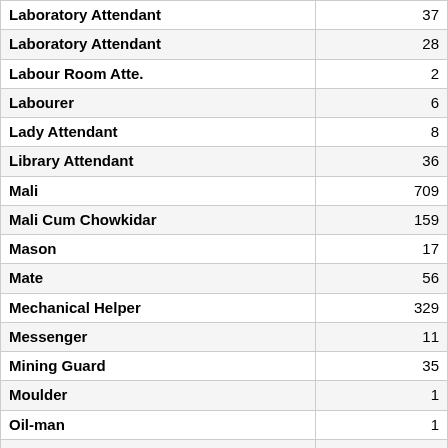| Position | Count |
| --- | --- |
| Laboratory Attendant | 37 |
| Laboratory Attendant | 28 |
| Labour Room Atte. | 2 |
| Labourer | 6 |
| Lady Attendant | 8 |
| Library Attendant | 36 |
| Mali | 709 |
| Mali Cum Chowkidar | 159 |
| Mason | 17 |
| Mate | 56 |
| Mechanical Helper | 329 |
| Messenger | 11 |
| Mining Guard | 35 |
| Moulder | 1 |
| Oil-man | 1 |
| Orderly | 11 |
| Packer | 4 |
| Painter | 15 |
| Parade Attendant | 3 |
| Peon Cum Chowkidar | 531 |
| Petrol Pump Atte. | 2 |
| Plumber cum Helper | 1 |
| Process Server | 11 |